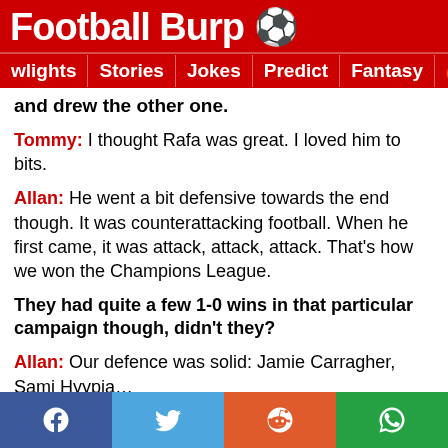Football Burp 🏈
wlights | Stories | Jokes | Predict | Fantasy 🔥🔍
and drew the other one.
Tommy: I thought Rafa was great. I loved him to bits.
Allan: He went a bit defensive towards the end though. It was counterattacking football. When he first came, it was attack, attack, attack. That's how we won the Champions League.
They had quite a few 1-0 wins in that particular campaign though, didn't they?
Allan: Our defence was solid: Jamie Carragher, Sami Hyypia...
Social share bar: Facebook, Twitter, Reddit, WhatsApp